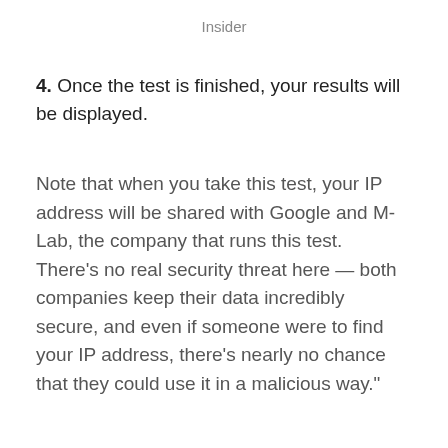Insider
4. Once the test is finished, your results will be displayed.
Note that when you take this test, your IP address will be shared with Google and M-Lab, the company that runs this test. There’s no real security threat here — both companies keep their data incredibly secure, and even if someone were to find your IP address, there’s nearly no chance that they could use it in a malicious way.”